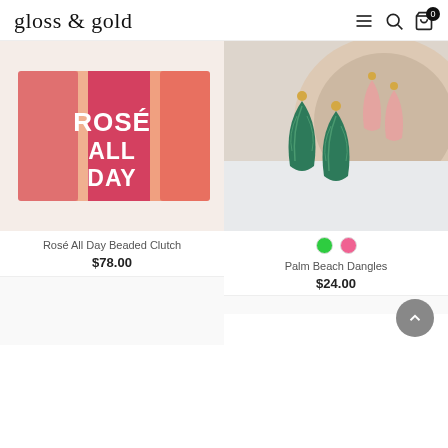gloss & gold
[Figure (photo): Rosé All Day beaded clutch bag in pink and orange tones with white text]
Rosé All Day Beaded Clutch
$78.00
[Figure (photo): Palm Beach Dangles earrings in green and pink leaf shapes on a beige hat]
Palm Beach Dangles
$24.00